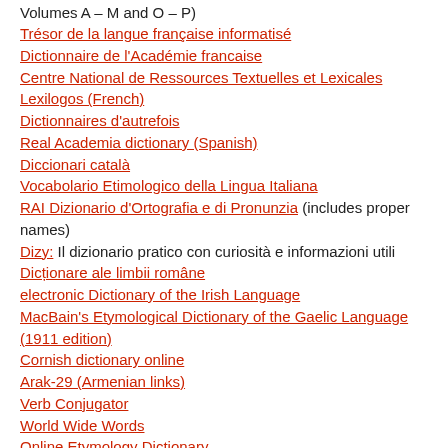Volumes A – M and O – P)
Trésor de la langue française informatisé
Dictionnaire de l'Académie francaise
Centre National de Ressources Textuelles et Lexicales
Lexilogos (French)
Dictionnaires d'autrefois
Real Academia dictionary (Spanish)
Diccionari català
Vocabolario Etimologico della Lingua Italiana
RAI Dizionario d'Ortografia e di Pronunzia (includes proper names)
Dizy: Il dizionario pratico con curiosità e informazioni utili
Dicționare ale limbii române
electronic Dictionary of the Irish Language
MacBain's Etymological Dictionary of the Gaelic Language (1911 edition)
Cornish dictionary online
Arak-29 (Armenian links)
Verb Conjugator
World Wide Words
Online Etymology Dictionary
Tower of Babel etymological database